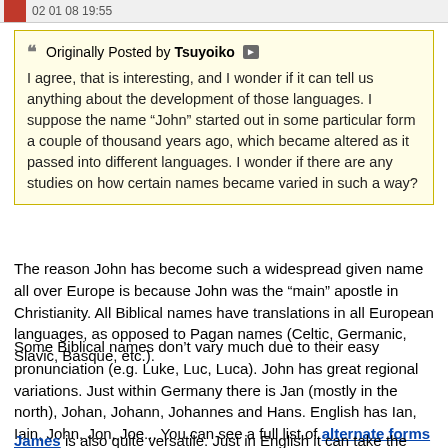02 01 08 19:55
Originally Posted by Tsuyoiko
I agree, that is interesting, and I wonder if it can tell us anything about the development of those languages. I suppose the name "John" started out in some particular form a couple of thousand years ago, which became altered as it passed into different languages. I wonder if there are any studies on how certain names became varied in such a way?
The reason John has become such a widespread given name all over Europe is because John was the "main" apostle in Christianity. All Biblical names have translations in all European languages, as opposed to Pagan names (Celtic, Germanic, Slavic, Basque, etc.).
Some Biblical names don't vary much due to their easy pronunciation (e.g. Luke, Luc, Luca). John has great regional variations. Just within Germany there is Jan (mostly in the north), Johan, Johann, Johannes and Hans. English has Ian, Iain, John, Jon, Joe... You can see a full list of alternate forms of John in different languages on Wiki.
James is also quite versatile. Just in English it can take the